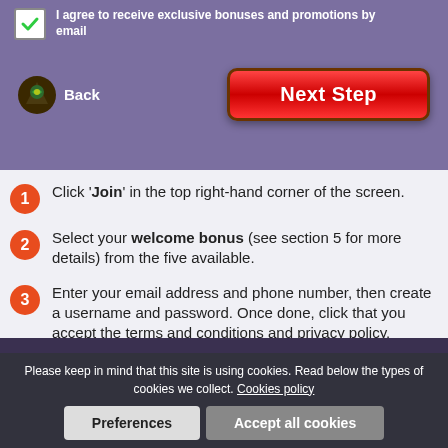[Figure (screenshot): Purple registration form area showing a checked checkbox with text 'I agree to receive exclusive bonuses and promotions by email', a Back button with decorative icon, and a red Next Step button]
1. Click 'Join' in the top right-hand corner of the screen.
2. Select your welcome bonus (see section 5 for more details) from the five available.
3. Enter your email address and phone number, then create a username and password. Once done, click that you accept the terms and conditions and privacy policy.
4. the final page of the form, add your name, date of
Please keep in mind that this site is using cookies. Read below the types of cookies we collect. Cookies policy
Preferences | Accept all cookies